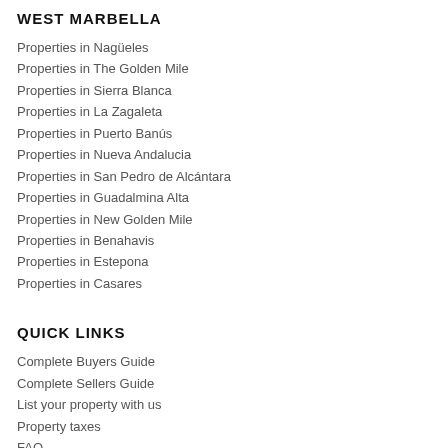WEST MARBELLA
Properties in Nagüeles
Properties in The Golden Mile
Properties in Sierra Blanca
Properties in La Zagaleta
Properties in Puerto Banús
Properties in Nueva Andalucia
Properties in San Pedro de Alcántara
Properties in Guadalmina Alta
Properties in New Golden Mile
Properties in Benahavis
Properties in Estepona
Properties in Casares
QUICK LINKS
Complete Buyers Guide
Complete Sellers Guide
List your property with us
Property taxes
FAQ
Property news